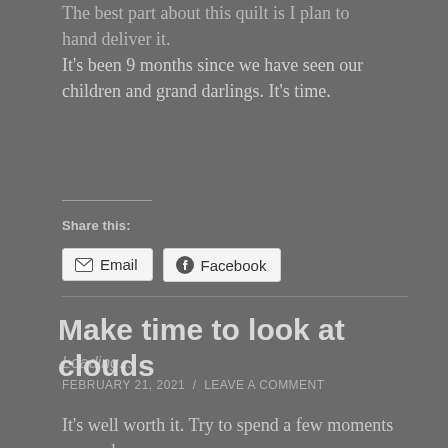The best part about this quilt is I plan to hand deliver it. It's been 9 months since we have seen our children and grand darlings. It's time.
Share this:
Loading...
Make time to look at clouds
FEBRUARY 21, 2021 / LEAVE A COMMENT
It's well worth it. Try to spend a few moments every day,